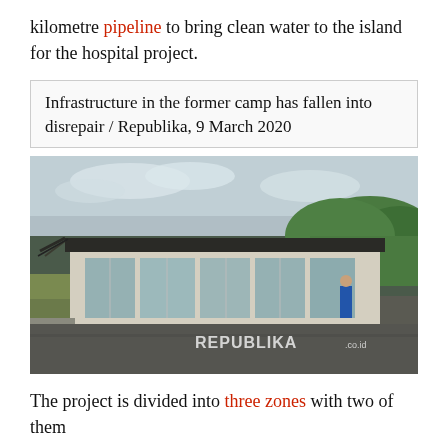kilometre pipeline to bring clean water to the island for the hospital project.
Infrastructure in the former camp has fallen into disrepair / Republika, 9 March 2020
[Figure (photo): Photograph of a dilapidated long single-storey building with corrugated metal roof and large glass windows, taken from an outdoor area showing a road/path in front, green hills in background, overcast sky. A person in blue stands near the building. Watermark reads REPUBLIKA.co.id]
The project is divided into three zones with two of them